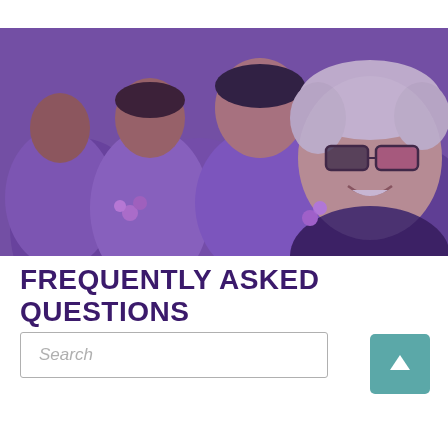[Figure (photo): Group photo of people wearing purple clothing at an outdoor event, prominently featuring an elderly woman with white hair and dark-framed glasses smiling broadly, with a purple color overlay on the image.]
FREQUENTLY ASKED QUESTIONS
Search